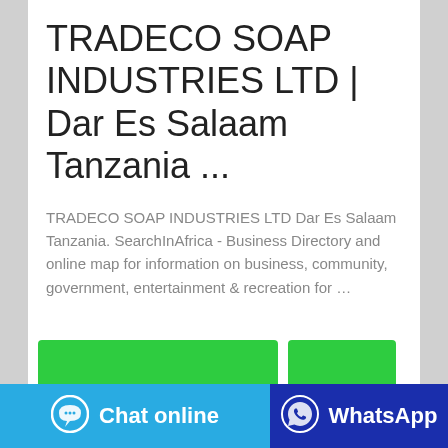TRADECO SOAP INDUSTRIES LTD | Dar Es Salaam Tanzania ...
TRADECO SOAP INDUSTRIES LTD Dar Es Salaam Tanzania. SearchInAfrica - Business Directory and online map for information on business, community, government, entertainment & recreation for …